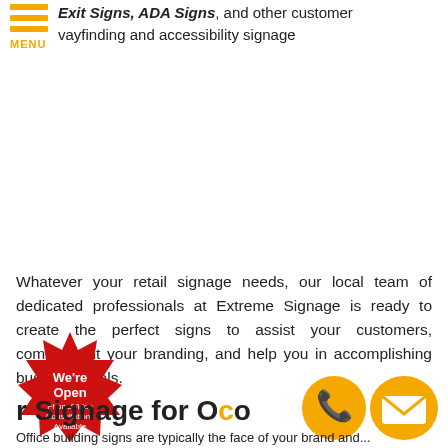Exit Signs, ADA Signs, and other customer wayfinding and accessibility signage
Whatever your retail signage needs, our local team of dedicated professionals at Extreme Signage is ready to create the perfect signs to assist your customers, complement your branding, and help you in accomplishing business goals.
[Figure (illustration): Red starburst badge with white text reading 'We're Open Phone/Video Consultations Available']
r Signage for O c
[Figure (illustration): Gold circle phone icon]
[Figure (illustration): Gold circle email envelope icon]
Office building signs are typically the face of your brand and...